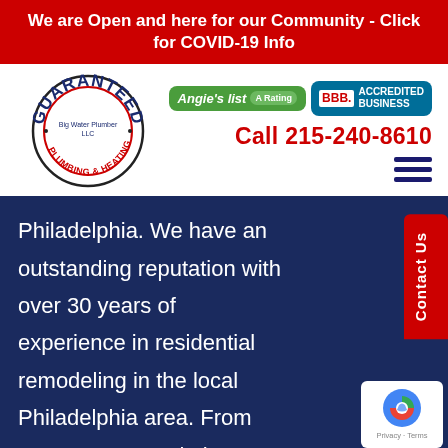We are Open and here for our Community - Click for COVID-19 Info
[Figure (logo): Circular logo with text GUARANTEED in blue, PLUMBING & HEATING around the inside circle, red stamp style design]
[Figure (logo): Angie's List A Rating green badge]
[Figure (logo): BBB Accredited Business teal badge]
Call 215-240-8610
[Figure (infographic): Hamburger menu icon with three horizontal navy blue lines]
Philadelphia. We have an outstanding reputation with over 30 years of experience in residential remodeling in the local Philadelphia area. From concept to completion, you will be in excellent hands with our local team of professional remodelers. Our successful track record
[Figure (other): Contact Us red vertical tab button on the right side]
[Figure (other): Google reCAPTCHA privacy badge in white box]